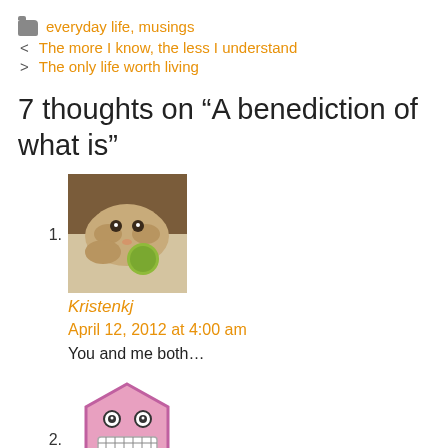everyday life, musings
< The more I know, the less I understand
> The only life worth living
7 thoughts on “A benediction of what is”
[Figure (photo): Avatar image of a dog (puppy) with a tennis ball, small square profile picture]
Kristenkj
April 12, 2012 at 4:00 am
You and me both…
[Figure (illustration): Avatar image of a pink cartoon monster/emoji face with teeth, hexagon shape]
Kathryn at Good Life Road